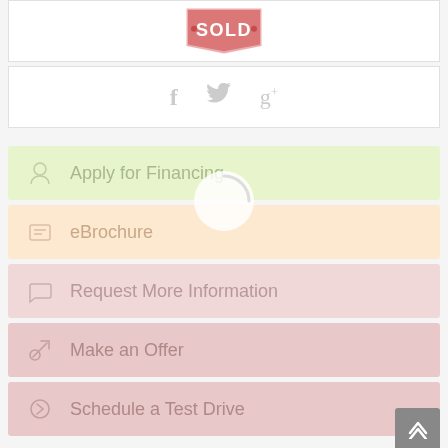[Figure (illustration): SOLD tag/badge in pink and red with white bold text reading SOLD]
[Figure (illustration): Social share icons: Facebook (f), Twitter (bird), Google+ (g+) in light gray]
Apply for Financing
eBrochure
Request More Information
Make an Offer
Schedule a Test Drive